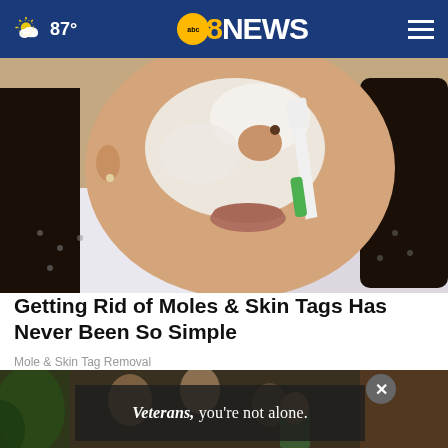87° abc8NEWS
[Figure (photo): Woman applying white cream/foam to her face with a toothbrush, wearing a white patterned blouse, long dark hair]
Getting Rid of Moles & Skin Tags Has Never Been So Simple
Mole & Skin Tag Removal
[Figure (photo): Video advertisement overlay showing people in a domestic setting with text 'Veterans, you're not alone.' and a close button X]
Veterans, you're not alone.